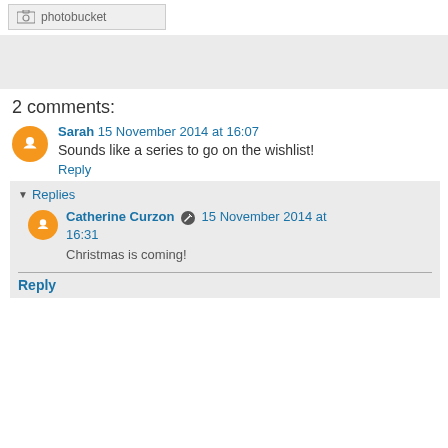[Figure (screenshot): Photobucket image placeholder with icon and text]
[Figure (other): Gray advertisement banner area]
2 comments:
Sarah  15 November 2014 at 16:07
Sounds like a series to go on the wishlist!
Reply
Replies
Catherine Curzon  15 November 2014 at 16:31
Christmas is coming!
Reply